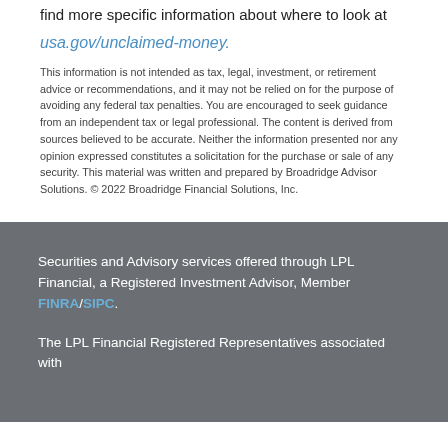find more specific information about where to look at usa.gov/unclaimed-money.
This information is not intended as tax, legal, investment, or retirement advice or recommendations, and it may not be relied on for the purpose of avoiding any federal tax penalties. You are encouraged to seek guidance from an independent tax or legal professional. The content is derived from sources believed to be accurate. Neither the information presented nor any opinion expressed constitutes a solicitation for the purchase or sale of any security. This material was written and prepared by Broadridge Advisor Solutions. © 2022 Broadridge Financial Solutions, Inc.
Securities and Advisory services offered through LPL Financial, a Registered Investment Advisor, Member FINRA/SIPC. The LPL Financial Registered Representatives associated with